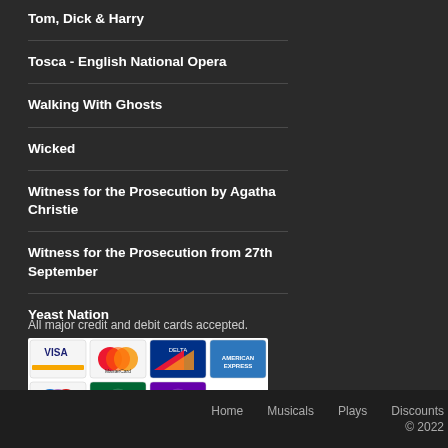Tom, Dick & Harry
Tosca - English National Opera
Walking With Ghosts
Wicked
Witness for the Prosecution by Agatha Christie
Witness for the Prosecution from 27th September
Yeast Nation
All major credit and debit cards accepted.
[Figure (other): Payment card logos: Visa, MasterCard, Delta, American Express, Maestro, Switch, Solo]
Home   Musicals   Plays   Discounts   © 2022